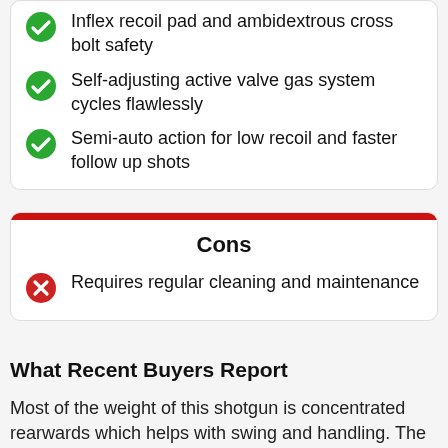Inflex recoil pad and ambidextrous cross bolt safety
Self-adjusting active valve gas system cycles flawlessly
Semi-auto action for low recoil and faster follow up shots
Cons
Requires regular cleaning and maintenance
What Recent Buyers Report
Most of the weight of this shotgun is concentrated rearwards which helps with swing and handling. The gun has shown exceptional